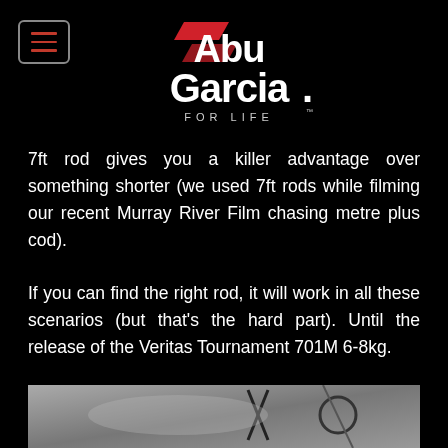[Figure (logo): Abu Garcia FOR LIFE logo with red parallelogram graphic, white bold text on black background]
7ft rod gives you a killer advantage over something shorter (we used 7ft rods while filming our recent Murray River Film chasing metre plus cod).
If you can find the right rod, it will work in all these scenarios (but that's the hard part). Until the release of the Veritas Tournament 701M 6-8kg.
[Figure (photo): Close-up photo of fishing rod guides/rings against a blurred grey background]